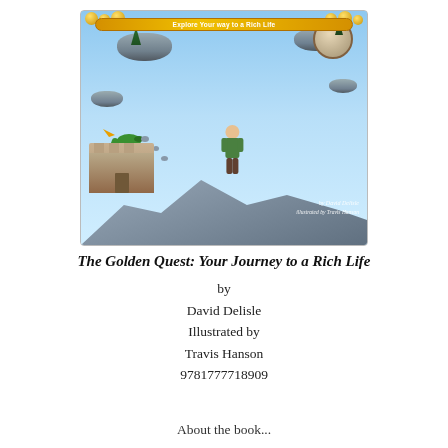[Figure (illustration): Book cover of 'The Golden Quest: Explore Your Way to a Rich Life' showing a boy standing on a mountain peak surrounded by floating rocky islands, a green dragon, a castle, and trees. Gold coins scatter at the top. Text reads 'by David Delisle, illustrated by Travis Hanson'.]
The Golden Quest: Your Journey to a Rich Life
by
David Delisle
Illustrated by
Travis Hanson
9781777718909
About the book...